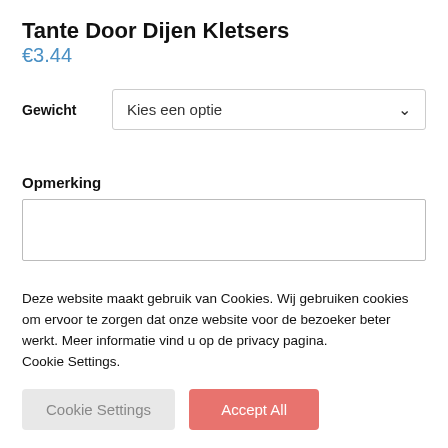Tante Door Dijen Kletsers
€3.44
Gewicht  Kies een optie
Opmerking
Deze website maakt gebruik van Cookies. Wij gebruiken cookies om ervoor te zorgen dat onze website voor de bezoeker beter werkt. Meer informatie vind u op de privacy pagina.
Cookie Settings.
Cookie Settings  Accept All